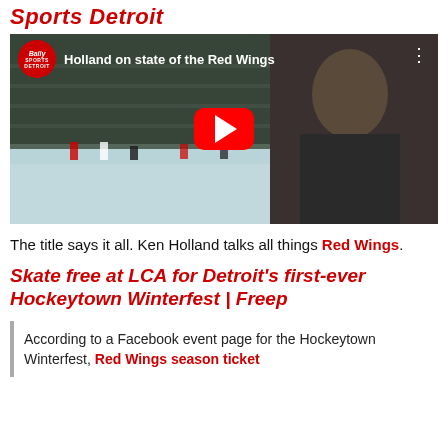Sports Detroit
[Figure (screenshot): YouTube video thumbnail showing Ken Holland being interviewed near an ice rink. Title reads 'Holland on state of the Red Wings'. Bally Sports Detroit logo in top-left corner. Red YouTube play button in center.]
The title says it all. Ken Holland talks all things Red Wings.
Skate free at LCA for Detroit's first-ever Hockeytown Winterfest | Freep
According to a Facebook event page for the Hockeytown Winterfest, Red Wings season ticket